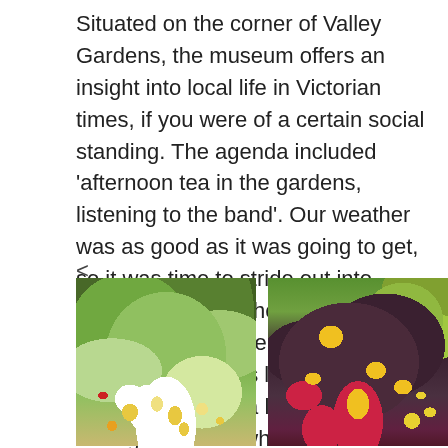Situated on the corner of Valley Gardens, the museum offers an insight into local life in Victorian times, if you were of a certain social standing. The agenda included 'afternoon tea in the gardens, listening to the band'. Our weather was as good as it was going to get, so it was time to stride out into Valley Gardens, where the RHS show used to be held. It became too popular for this lovely place, and expanded to a less charismatic showground elsewhere.
<
[Figure (photo): Garden border with mixed planting showing white flowers, yellow daisy-like flowers with dark centres, red flowers, and lush green foliage and shrubs in the background.]
[Figure (photo): Close-up of dahlias with yellow and red bi-colour petals growing among dark purple-bronze foliage, with coleus and other colourful plants visible beneath, and greenery in the background.]